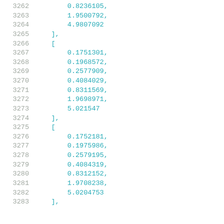Code listing lines 3262-3283 showing numerical array data
3262    0.8236105,
3263    1.9500792,
3264    4.9807092
3265  ],
3266  [
3267    0.1751301,
3268    0.1968572,
3269    0.2577909,
3270    0.4084029,
3271    0.8311569,
3272    1.9698971,
3273    5.021547
3274  ],
3275  [
3276    0.1752181,
3277    0.1975986,
3278    0.2579195,
3279    0.4084319,
3280    0.8312152,
3281    1.9708238,
3282    5.0204753
3283  ],